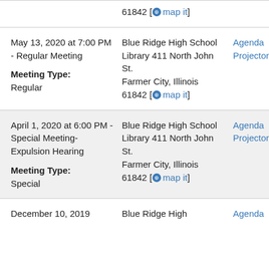61842 [map it]
May 13, 2020 at 7:00 PM - Regular Meeting
Meeting Type: Regular
Blue Ridge High School Library 411 North John St. Farmer City, Illinois 61842 [map it]
Agenda
Projector
April 1, 2020 at 6:00 PM - Special Meeting-Expulsion Hearing
Meeting Type: Special
Blue Ridge High School Library 411 North John St. Farmer City, Illinois 61842 [map it]
Agenda
Projector
December 10, 2019
Blue Ridge High
Agenda